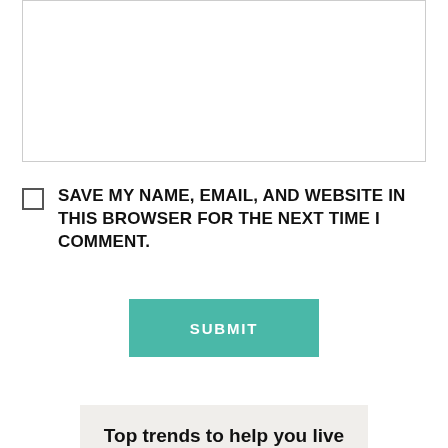[Figure (screenshot): Empty textarea input box with resize handle at bottom-right corner]
SAVE MY NAME, EMAIL, AND WEBSITE IN THIS BROWSER FOR THE NEXT TIME I COMMENT.
[Figure (screenshot): Teal/green SUBMIT button]
[Figure (screenshot): Partial banner image with text 'Top trends to help you live']